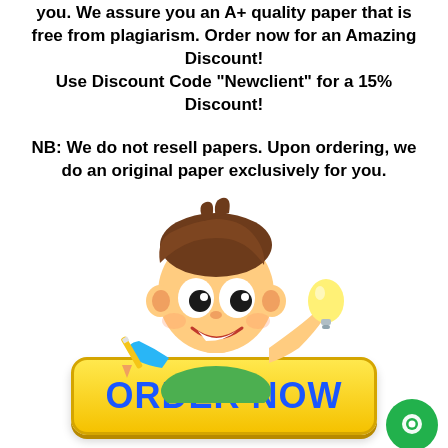you. We assure you an A+ quality paper that is free from plagiarism. Order now for an Amazing Discount!
Use Discount Code "Newclient" for a 15% Discount!
NB: We do not resell papers. Upon ordering, we do an original paper exclusively for you.
[Figure (illustration): Cartoon boy with brown hair holding a pencil and a lightbulb, peeking over a yellow ORDER NOW button]
[Figure (illustration): Green circular chat/messenger icon button at bottom right]